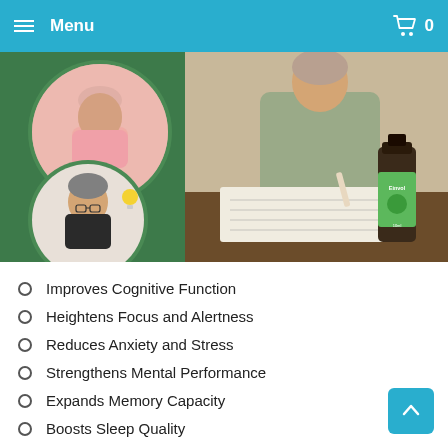Menu  0
[Figure (photo): Product promotional image showing Einvol essential oil bottle with circular inset photos of elderly women, one resting and one thinking with lightbulb icon, and a woman writing/doing puzzles in background]
Improves Cognitive Function
Heightens Focus and Alertness
Reduces Anxiety and Stress
Strengthens Mental Performance
Expands Memory Capacity
Boosts Sleep Quality